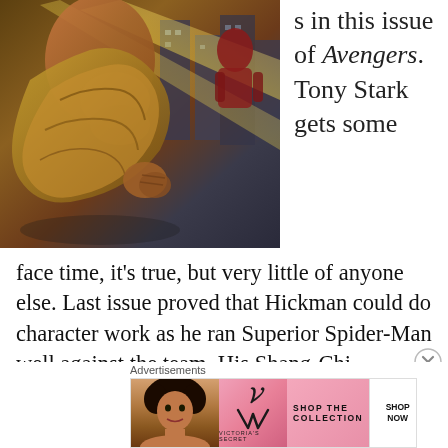[Figure (illustration): Comic book artwork showing a muscular figure with golden/brown wrapping or cape, set against a city background with yellow diagonal beams of light and a red-suited figure partially visible]
s in this issue of Avengers. Tony Stark gets some face time, it’s true, but very little of anyone else. Last issue proved that Hickman could do character work as he ran Superior Spider-Man well against the team. His Shang-Chi, Captain America, Thor, and Hulk also shine, but his focus so far in this series has been on story, and on new characters primarily
Advertisements
[Figure (screenshot): Victoria's Secret advertisement banner with pink background, showing a woman with curly hair, VS logo, text SHOP THE COLLECTION, and a SHOP NOW button]